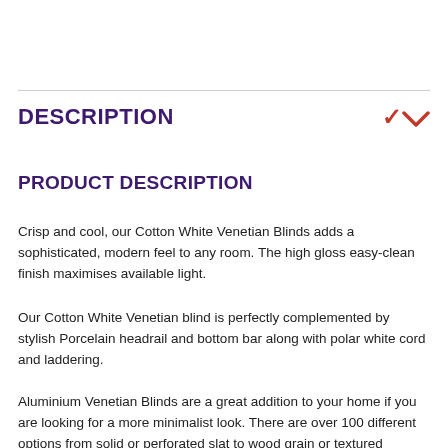DESCRIPTION
PRODUCT DESCRIPTION
Crisp and cool, our Cotton White Venetian Blinds adds a sophisticated, modern feel to any room. The high gloss easy-clean finish maximises available light.
Our Cotton White Venetian blind is perfectly complemented by stylish Porcelain headrail and bottom bar along with polar white cord and laddering.
Aluminium Venetian Blinds are a great addition to your home if you are looking for a more minimalist look. There are over 100 different options from solid or perforated slat to wood grain or textured finishes. Any of these sits perfectly within any room. All of our